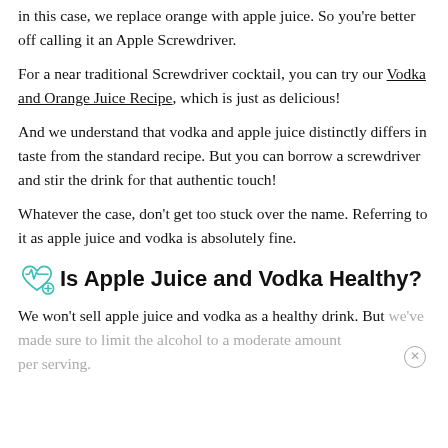in this case, we replace orange with apple juice. So you're better off calling it an Apple Screwdriver.
For a near traditional Screwdriver cocktail, you can try our Vodka and Orange Juice Recipe, which is just as delicious!
And we understand that vodka and apple juice distinctly differs in taste from the standard recipe. But you can borrow a screwdriver and stir the drink for that authentic touch!
Whatever the case, don't get too stuck over the name. Referring to it as apple juice and vodka is absolutely fine.
Is Apple Juice and Vodka Healthy?
We won't sell apple juice and vodka as a healthy drink. But we've made sure to limit the alcohol to a moderate amount per serving.